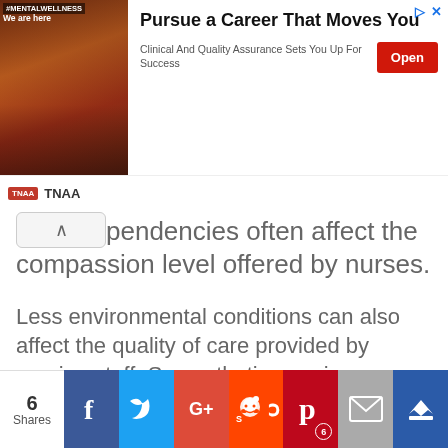[Figure (screenshot): Advertisement banner for TNAA: 'Pursue a Career That Moves You' with an Open button and description 'Clinical And Quality Assurance Sets You Up For Success']
pendencies often affect the compassion level offered by nurses.
Less environmental conditions can also affect the quality of care provided by nursing staff. Sympathetic care is expressed more effectively with more than the word of action.
The absence or presence of compassion usually makes a lasting impression on
[Figure (screenshot): Social share bar with 6 Shares: Facebook, Twitter, Google+, Reddit, Pinterest (badge: 6), Email, Crown icon buttons]